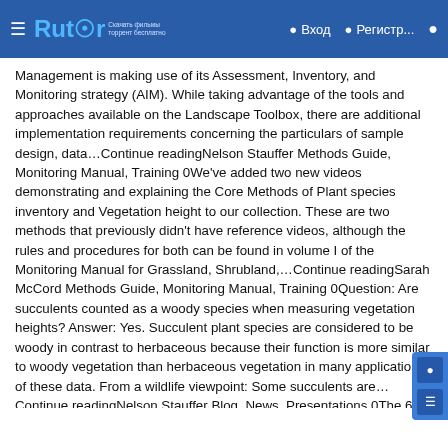Rutor — Вход — Регистр...
Management is making use of its Assessment, Inventory, and Monitoring strategy (AIM). While taking advantage of the tools and approaches available on the Landscape Toolbox, there are additional implementation requirements concerning the particulars of sample design, data…Continue readingNelson Stauffer Methods Guide, Monitoring Manual, Training 0We've added two new videos demonstrating and explaining the Core Methods of Plant species inventory and Vegetation height to our collection. These are two methods that previously didn't have reference videos, although the rules and procedures for both can be found in volume I of the Monitoring Manual for Grassland, Shrubland,…Continue readingSarah McCord Methods Guide, Monitoring Manual, Training 0Question: Are succulents counted as a woody species when measuring vegetation heights? Answer: Yes. Succulent plant species are considered to be woody in contrast to herbaceous because their function is more similar to woody vegetation than herbaceous vegetation in many applications of these data. From a wildlife viewpoint: Some succulents are…Continue readingNelson Stauffer Blog, News, Presentations 0The 68th annual Society